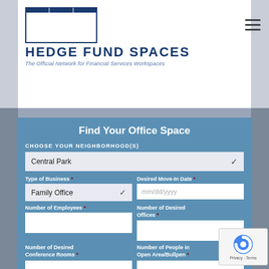[Figure (logo): Hedge Fund Spaces logo with city skyline icon and text]
Find Your Office Space
CHOOSE YOUR NEIGHBORHOOD(S)
Central Park (dropdown)
Type of Business * | Desired Move-In Date *
Family Office (dropdown) | mm/dd/yyyy (date input)
Number of Employees * | Number of Desired Offices *
Number of Desired Conference Rooms * | Number of People in Open Area/Bullpen *
Wet Pantry | Reception Area *